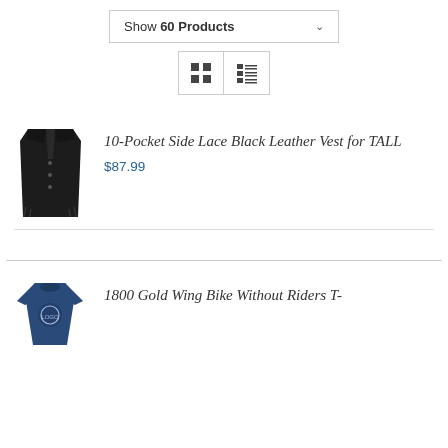Show 60 Products
[Figure (other): View toggle buttons: grid view and list view icons]
[Figure (photo): 10-Pocket Side Lace Black Leather Vest for TALL product image]
10-Pocket Side Lace Black Leather Vest for TALL
$87.99
[Figure (photo): 1800 Gold Wing Bike Without Riders T-shirt product image, navy blue]
1800 Gold Wing Bike Without Riders T-